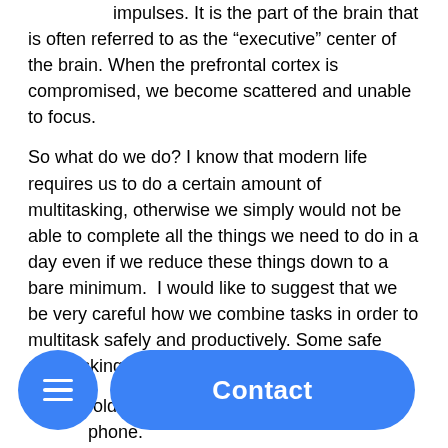impulses. It is the part of the brain that is often referred to as the “executive” center of the brain. When the prefrontal cortex is compromised, we become scattered and unable to focus.
So what do we do? I know that modern life requires us to do a certain amount of multitasking, otherwise we simply would not be able to complete all the things we need to do in a day even if we reduce these things down to a bare minimum. I would like to suggest that we be very careful how we combine tasks in order to multitask safely and productively. Some safe multitasking might be:
folding the laundry while talking on the phone.
Listen to an audio-book or music while raking leaves or exercising.
Some things we might want to avoid because of the way the bra…cess…
…king … …me time.